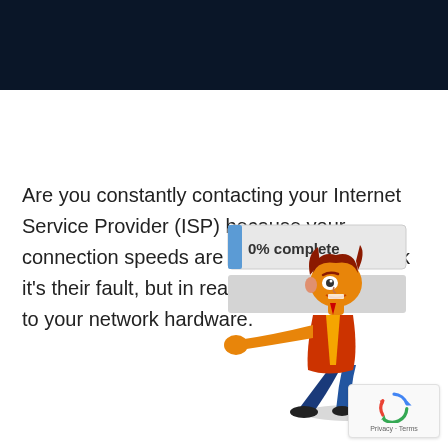[Figure (illustration): Dark navy blue header bar at the top of the page]
Are you constantly contacting your Internet Service Provider (ISP) because your connection speeds are slow? You may think it’s their fault, but in reality, it could be due to your network hardware.
[Figure (illustration): Cartoon illustration of a frustrated man pushing/pulling a progress bar showing 0% complete, with a browser-style progress bar element. A reCAPTCHA badge with Privacy and Terms links appears in the bottom right corner.]